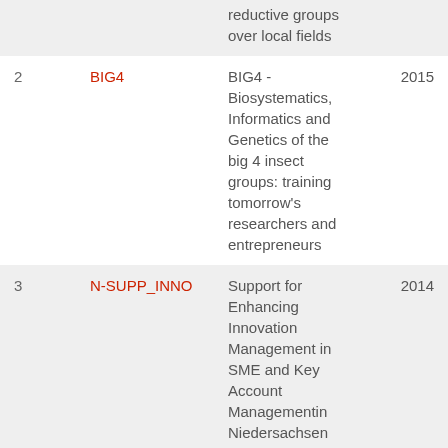| # | Acronym | Title | Year |
| --- | --- | --- | --- |
|  |  | reductive groups over local fields |  |
| 2 | BIG4 | BIG4 - Biosystematics, Informatics and Genetics of the big 4 insect groups: training tomorrow's researchers and entrepreneurs | 2015 |
| 3 | N-SUPP_INNO | Support for Enhancing Innovation Management in SME and Key Account Managementin Niedersachsen | 2014 |
| 4 | FFI | Forward Flow | 2014 |